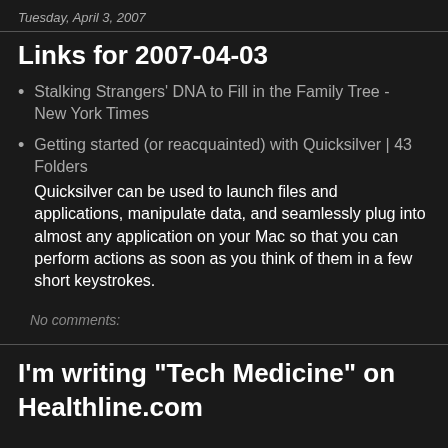Tuesday, April 3, 2007
Links for 2007-04-03
Stalking Strangers' DNA to Fill in the Family Tree - New York Times
Getting started (or reacquainted) with Quicksilver | 43 Folders
Quicksilver can be used to launch files and applications, manipulate data, and seamlessly plug into almost any application on your Mac so that you can perform actions as soon as you think of them in a few short keystrokes.
No comments:
I'm writing "Tech Medicine" on Healthline.com